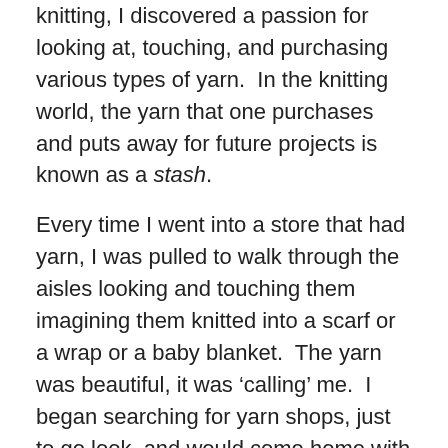knitting, I discovered a passion for looking at, touching, and purchasing various types of yarn.  In the knitting world, the yarn that one purchases and puts away for future projects is known as a stash.
Every time I went into a store that had yarn, I was pulled to walk through the aisles looking and touching them imagining them knitted into a scarf or a wrap or a baby blanket.  The yarn was beautiful, it was ‘calling’ me.  I began searching for yarn shops, just to go look, and would come home with sale items or a skein that was so beautiful or soft that surely I could find a way to use it.
The truth is out now.  But I also have to tell you the rest of the story.  I had to stop and reflect on my pull to yarns.  I realized I could justify it because I bought it on sale, or I knew it was a color so-and-so would like, or it was a yarn